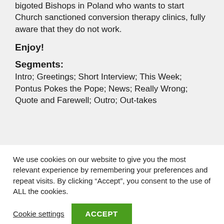bigoted Bishops in Poland who wants to start Church sanctioned conversion therapy clinics, fully aware that they do not work.
Enjoy!
Segments:
Intro; Greetings; Short Interview; This Week; Pontus Pokes the Pope; News; Really Wrong; Quote and Farewell; Outro; Out-takes
We use cookies on our website to give you the most relevant experience by remembering your preferences and repeat visits. By clicking “Accept”, you consent to the use of ALL the cookies.
Cookie settings
ACCEPT